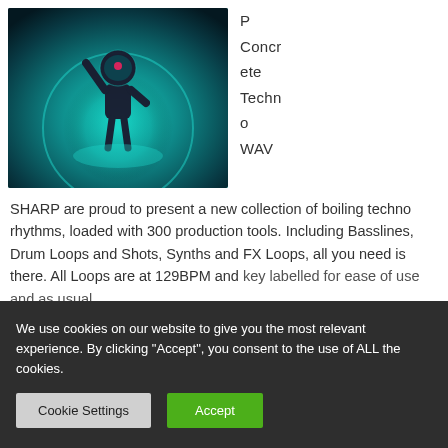[Figure (photo): Dark sci-fi/techno themed product image showing an astronaut figure against a teal/cyan glowing background with circular light elements]
P Concrete Techno WAV
SHARP are proud to present a new collection of boiling techno rhythms, loaded with 300 production tools. Including Basslines, Drum Loops and Shots, Synths and FX Loops, all you need is there. All Loops are at 129BPM and key labelled for ease of use and as usual
We use cookies on our website to give you the most relevant experience. By clicking "Accept", you consent to the use of ALL the cookies.
Cookie Settings
Accept